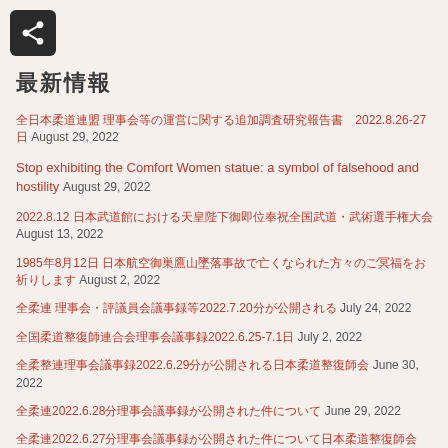[Figure (other): Share icon button - white arrow share symbol on dark background]
最新情報
全日本柔道連盟 理事会等の運営に関する追加調査研究報告書　2022.8.26-27日 August 29, 2022
Stop exhibiting the Comfort Women statue: a symbol of falsehood and hostility August 29, 2022
2022.8.12 日本武道館における天皇陛下御即位奉祝全国武道・武術選手権大会 August 13, 2022
1985年8月12日 日本航空御巣鷹山墜落事故で亡くなられた方々のご冥福をお祈りします August 2, 2022
全柔連 理事会・評議員会議事録等2022.7.20分が公開される July 24, 2022
全国柔道整復師連合会理事会議事録2022.6.25-7.1日 July 2, 2022
全柔整連理事会議事録2022.6.29分が公開される日本柔道整復師会 June 30, 2022
全柔連2022.6.28分理事会議事録が公開された件について June 29, 2022
全柔連2022.6.27分理事会議事録が公開された件について日本柔道整復師会 June 28, 2022
全柔連2022.6.26分理事会議事録が公開された件について June 26, 2022